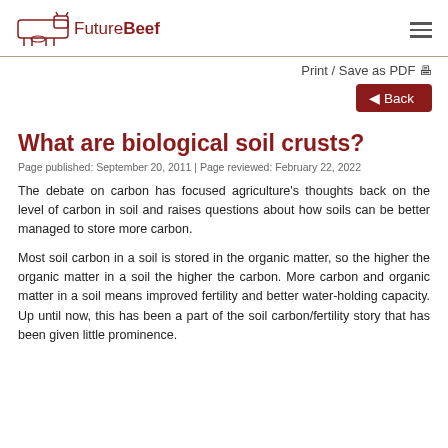FutureBeef
Print / Save as PDF
◄ Back
What are biological soil crusts?
Page published: September 20, 2011 | Page reviewed: February 22, 2022
The debate on carbon has focused agriculture's thoughts back on the level of carbon in soil and raises questions about how soils can be better managed to store more carbon.
Most soil carbon in a soil is stored in the organic matter, so the higher the organic matter in a soil the higher the carbon. More carbon and organic matter in a soil means improved fertility and better water-holding capacity. Up until now, this has been a part of the soil carbon/fertility story that has been given little prominence.